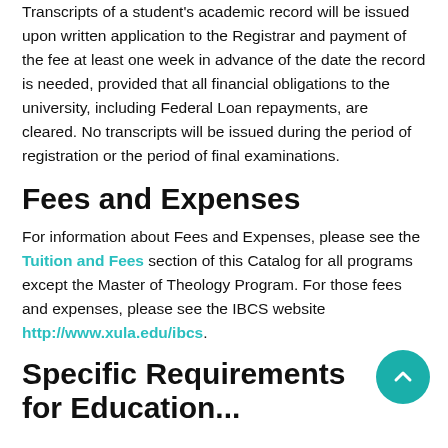Transcripts of a student's academic record will be issued upon written application to the Registrar and payment of the fee at least one week in advance of the date the record is needed, provided that all financial obligations to the university, including Federal Loan repayments, are cleared. No transcripts will be issued during the period of registration or the period of final examinations.
Fees and Expenses
For information about Fees and Expenses, please see the Tuition and Fees section of this Catalog for all programs except the Master of Theology Program. For those fees and expenses, please see the IBCS website http://www.xula.edu/ibcs.
Specific Requirements for Education...